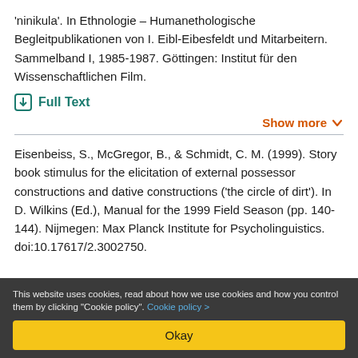'ninikula'. In Ethnologie – Humanethologische Begleitpublikationen von I. Eibl-Eibesfeldt und Mitarbeitern. Sammelband I, 1985-1987. Göttingen: Institut für den Wissenschaftlichen Film.
Full Text
Show more
Eisenbeiss, S., McGregor, B., & Schmidt, C. M. (1999). Story book stimulus for the elicitation of external possessor constructions and dative constructions ('the circle of dirt'). In D. Wilkins (Ed.), Manual for the 1999 Field Season (pp. 140-144). Nijmegen: Max Planck Institute for Psycholinguistics. doi:10.17617/2.3002750.
This website uses cookies, read about how we use cookies and how you control them by clicking "Cookie policy". Cookie policy >